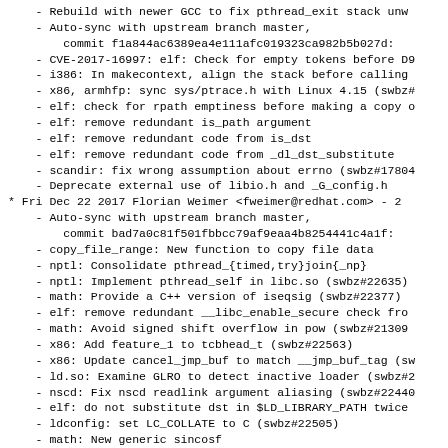- Rebuild with newer GCC to fix pthread_exit stack unw
- Auto-sync with upstream branch master, commit f1a844ac6389ea4e111afc019323ca982b5b027d:
- CVE-2017-16997: elf: Check for empty tokens before DS
- i386: In makecontext, align the stack before calling
- x86, armhfp: sync sys/ptrace.h with Linux 4.15 (swbz#
- elf: check for rpath emptiness before making a copy o
- elf: remove redundant is_path argument
- elf: remove redundant code from is_dst
- elf: remove redundant code from _dl_dst_substitute
- scandir: fix wrong assumption about errno (swbz#17804
- Deprecate external use of libio.h and _G_config.h
* Fri Dec 22 2017 Florian Weimer <fweimer@redhat.com> - 2
- Auto-sync with upstream branch master, commit bad7a0c81f501fbbcc79af9eaa4b8254441c4a1f:
- copy_file_range: New function to copy file data
- nptl: Consolidate pthread_{timed,try}join{_np}
- nptl: Implement pthread_self in libc.so (swbz#22635)
- math: Provide a C++ version of iseqsig (swbz#22377)
- elf: remove redundant __libc_enable_secure check fro
- math: Avoid signed shift overflow in pow (swbz#213097
- x86: Add feature_1 to tcbhead_t (swbz#22563)
- x86: Update cancel_jmp_buf to match __jmp_buf_tag (sw
- ld.so: Examine GLRO to detect inactive loader (swbz#2
- nscd: Fix nscd readlink argument aliasing (swbz#22440
- elf: do not substitute dst in $LD_LIBRARY_PATH twice
- ldconfig: set LC_COLLATE to C (swbz#22505)
- math: New generic sincosf
- powerpc: st{r,p}cpy optimization for aligned strings
- CVE-2017-1000409: Count in expanded path in _dl_ini